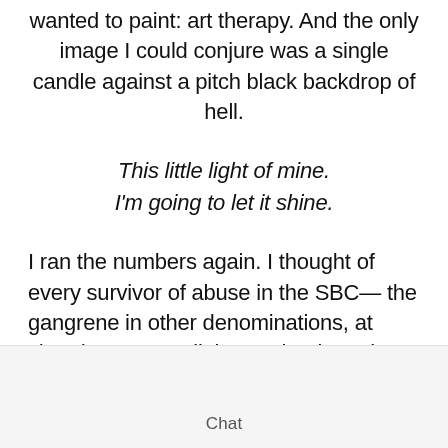wanted to paint: art therapy. And the only image I could conjure was a single candle against a pitch black backdrop of hell.
This little light of mine.
I'm going to let it shine.
I ran the numbers again. I thought of every survivor of abuse in the SBC— the gangrene in other denominations, at church camps, religious schools and religious colleges — all those at the hands of unchristian 'Christian' offenders— and I thought that all those single candles with solitary flames could
Chat